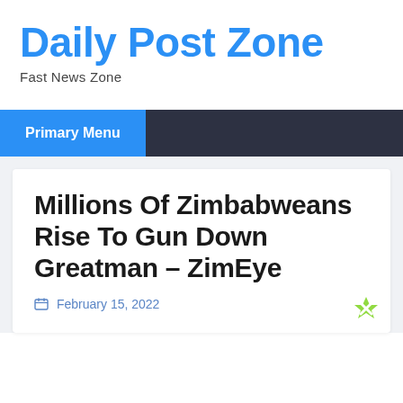Daily Post Zone
Fast News Zone
Primary Menu
Millions Of Zimbabweans Rise To Gun Down Greatman – ZimEye
February 15, 2022